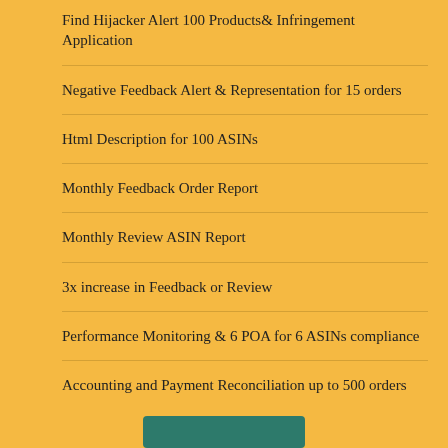Find Hijacker Alert 100 Products& Infringement Application
Negative Feedback Alert & Representation for 15 orders
Html Description for 100 ASINs
Monthly Feedback Order Report
Monthly Review ASIN Report
3x increase in Feedback or Review
Performance Monitoring & 6 POA for 6 ASINs compliance
Accounting and Payment Reconciliation up to 500 orders
[Figure (other): Green button at the bottom center]